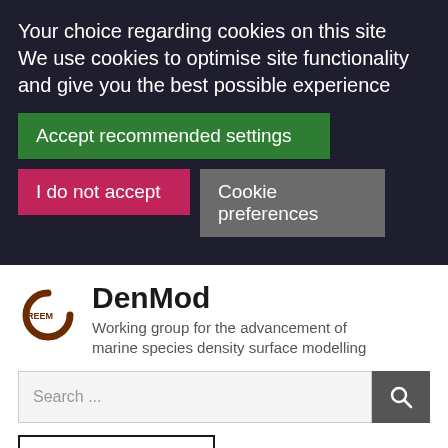Your choice regarding cookies on this site We use cookies to optimise site functionality and give you the best possible experience
Accept recommended settings
I do not accept
Cookie preferences
DenMod
Working group for the advancement of marine species density surface modelling
[Figure (logo): CREEM logo - letter C with REEM text inside]
Search ...
Cookie preferences
≡ Menu